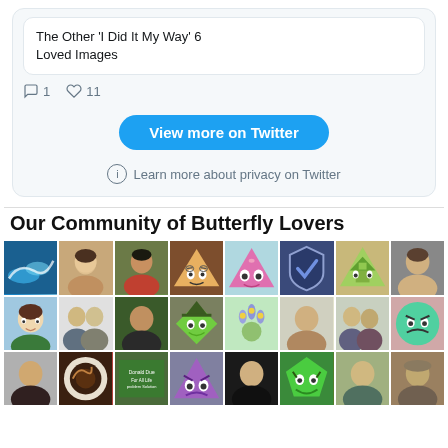[Figure (screenshot): Twitter widget showing a tweet with text "The Other 'I Did It My Way' 6 Loved Images", comment count 1, like count 11, a "View more on Twitter" button, and a "Learn more about privacy on Twitter" link]
Our Community of Butterfly Lovers
[Figure (photo): Grid of user avatar profile pictures, 3 rows of 8 avatars each, showing various cartoon, illustrated, and real photo avatars]